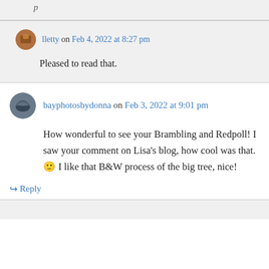(truncated top comment text)
lletty on Feb 4, 2022 at 8:27 pm — Pleased to read that.
bayphotosbydonna on Feb 3, 2022 at 9:01 pm — How wonderful to see your Brambling and Redpoll! I saw your comment on Lisa's blog, how cool was that. 🙂 I like that B&W process of the big tree, nice!
↪ Reply